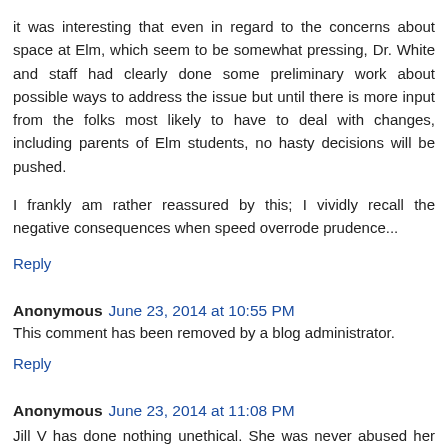it was interesting that even in regard to the concerns about space at Elm, which seem to be somewhat pressing, Dr. White and staff had clearly done some preliminary work about possible ways to address the issue but until there is more input from the folks most likely to have to deal with changes, including parents of Elm students, no hasty decisions will be pushed.
I frankly am rather reassured by this; I vividly recall the negative consequences when speed overrode prudence...
Reply
Anonymous June 23, 2014 at 10:55 PM
This comment has been removed by a blog administrator.
Reply
Anonymous June 23, 2014 at 11:08 PM
Jill V has done nothing unethical. She was never abused her power. She has donated her time while juggling work